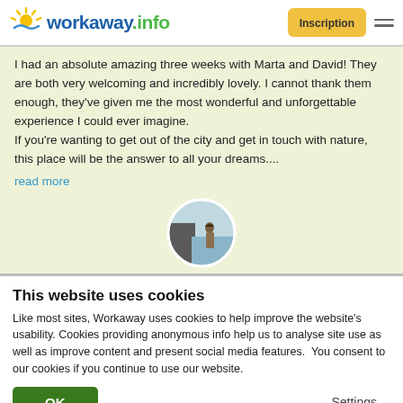workaway.info — Inscription
I had an absolute amazing three weeks with Marta and David! They are both very welcoming and incredibly lovely. I cannot thank them enough, they've given me the most wonderful and unforgettable experience I could ever imagine.
If you're wanting to get out of the city and get in touch with nature, this place will be the answer to all your dreams....
read more
[Figure (photo): Circular profile photo of a person standing outdoors near water and rocks]
This website uses cookies
Like most sites, Workaway uses cookies to help improve the website's usability. Cookies providing anonymous info help us to analyse site use as well as improve content and present social media features.  You consent to our cookies if you continue to use our website.
OK
Settings